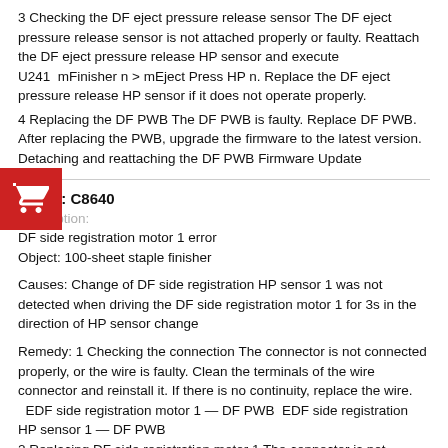3 Checking the DF eject pressure release sensor The DF eject pressure release sensor is not attached properly or faulty. Reattach the DF eject pressure release HP sensor and execute U241 mFinisher n > mEject Press HP n. Replace the DF eject pressure release HP sensor if it does not operate properly.
4 Replacing the DF PWB The DF PWB is faulty. Replace DF PWB. After replacing the PWB, upgrade the firmware to the latest version. Detaching and reattaching the DF PWB Firmware Update
CODE: C8640
Description:
DF side registration motor 1 error
Object: 100-sheet staple finisher
Causes: Change of DF side registration HP sensor 1 was not detected when driving the DF side registration motor 1 for 3s in the direction of HP sensor change
Remedy: 1 Checking the connection The connector is not connected properly, or the wire is faulty. Clean the terminals of the wire connector and reinstall it. If there is no continuity, replace the wire.   EDF side registration motor 1 — DF PWB   EDF side registration HP sensor 1 — DF PWB
2 Replacing DF side registration motor 1 The connector is not properly connected. Or the wire is faulty. Execute U240  mMotor  n >   mWidth Test  n Replace DF side registration motor 1 if it does not